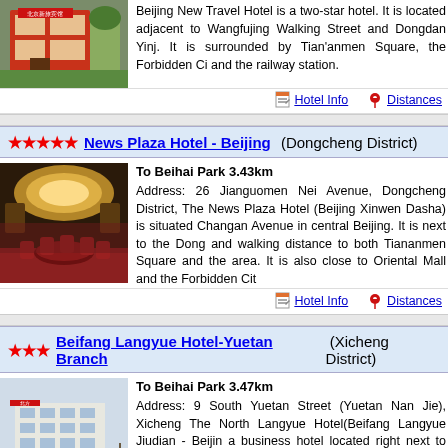Beijing New Travel Hotel is a two-star hotel. It is located adjacent to Wangfujing Walking Street and Dongdan Yinj. It is surrounded by Tian'anmen Square, the Forbidden Ci and the railway station.
Hotel Info  Distances
★★★★★ News Plaza Hotel - Beijing (Dongcheng District)
[Figure (photo): Interior of News Plaza Hotel showing a round dining table with red chairs in an elegant restaurant setting]
To Beihai Park 3.43km
Address: 26 Jianguomen Nei Avenue, Dongcheng District, The News Plaza Hotel (Beijing Xinwen Dasha) is situated Changan Avenue in central Beijing. It is next to the Dong and walking distance to both Tiananmen Square and the area. It is also close to Oriental Mall and the Forbidden Cit
Hotel Info  Distances
★★★ Beifang Langyue Hotel-Yuetan Branch (Xicheng District)
[Figure (photo): Exterior of Beifang Langyue Hotel-Yuetan Branch showing a multi-story building in winter]
To Beihai Park 3.47km
Address: 9 South Yuetan Street (Yuetan Nan Jie), Xicheng The North Langyue Hotel(Beifang Langyue Jiudian - Beijin a business hotel located right next to Yuetan Park, co Xidan central business district.
Hotel Info  Distances  Map